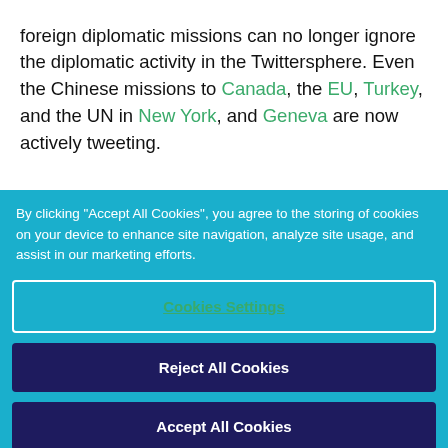foreign diplomatic missions can no longer ignore the diplomatic activity in the Twittersphere. Even the Chinese missions to Canada, the EU, Turkey, and the UN in New York, and Geneva are now actively tweeting.
By clicking "Accept All Cookies", you agree to the storing of cookies on your device to enhance site navigation, analyze site usage, and assist in our marketing efforts.
Cookies Settings
Reject All Cookies
Accept All Cookies